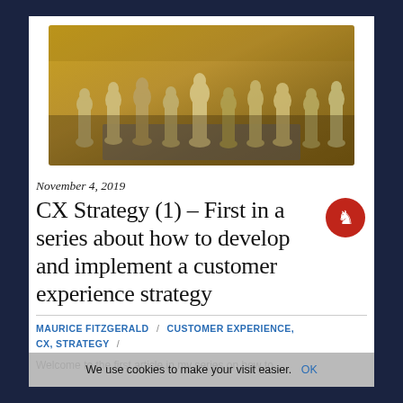[Figure (photo): Chess figurines arranged on a chessboard, viewed from a low angle. The figures appear to be terracotta/stone colored warriors or historical figures. Background is golden/yellow.]
November 4, 2019
CX Strategy (1) – First in a series about how to develop and implement a customer experience strategy
MAURICE FITZGERALD / CUSTOMER EXPERIENCE, CX, STRATEGY /
We use cookies to make your visit easier. OK
Welcome to the first article in my series on how to develop and implement a customer experience